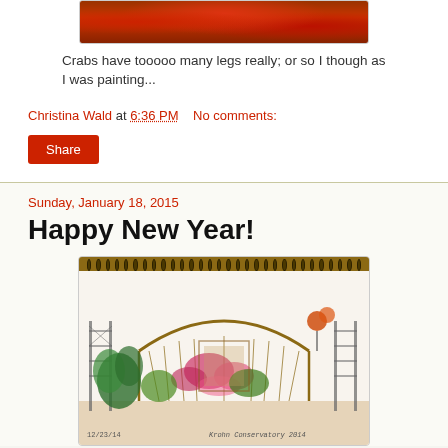[Figure (photo): Photograph of crabs, partially visible at top of page]
Crabs have tooooo many legs really; or so I though as I was painting...
Christina Wald at 6:36 PM    No comments:
Share
Sunday, January 18, 2015
Happy New Year!
[Figure (illustration): Sketchbook drawing of Krohn Conservatory interior with arched bridge, tropical plants, flowers, and decorative elements. Date: 12/23/14. Caption: Krohn Conservatory 2014]